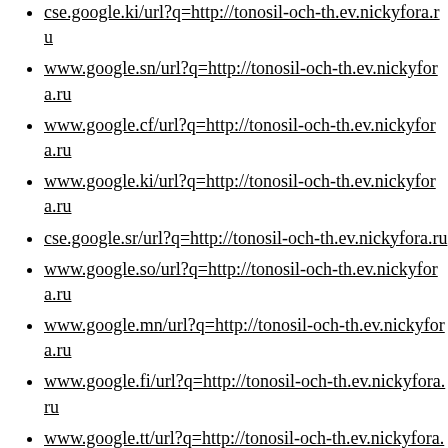cse.google.ki/url?q=http://tonosil-och-th.ev.nickyfora.ru
www.google.sn/url?q=http://tonosil-och-th.ev.nickyfora.ru
www.google.cf/url?q=http://tonosil-och-th.ev.nickyfora.ru
www.google.ki/url?q=http://tonosil-och-th.ev.nickyfora.ru
cse.google.sr/url?q=http://tonosil-och-th.ev.nickyfora.ru
www.google.so/url?q=http://tonosil-och-th.ev.nickyfora.ru
www.google.mn/url?q=http://tonosil-och-th.ev.nickyfora.ru
www.google.fi/url?q=http://tonosil-och-th.ev.nickyfora.ru
www.google.tt/url?q=http://tonosil-och-th.ev.nickyfora.ru